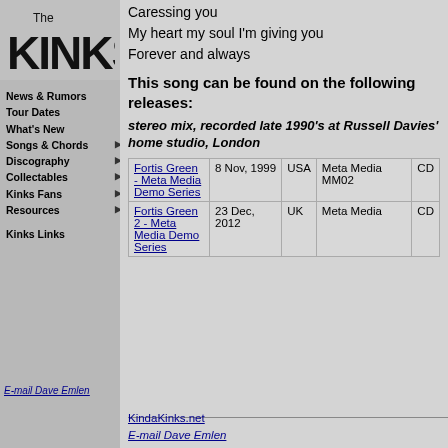[Figure (logo): The Kinks band logo in stylized black lettering]
News & Rumors
Tour Dates
What's New
Songs & Chords ▶
Discography ▶
Collectables ▶
Kinks Fans ▶
Resources ▶
Kinks Links
E-mail Dave Emlen
Caressing you
My heart my soul I'm giving you
Forever and always
This song can be found on the following releases:
stereo mix, recorded late 1990's at Russell Davies' home studio, London
|  |  |  |  |  |
| --- | --- | --- | --- | --- |
| Fortis Green - Meta Media Demo Series | 8 Nov, 1999 | USA | Meta Media MM02 | CD |
| Fortis Green 2 - Meta Media Demo Series | 23 Dec, 2012 | UK | Meta Media | CD |
KindaKinks.net
E-mail Dave Emlen